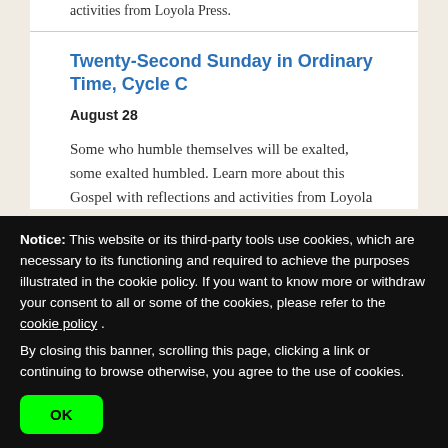activities from Loyola Press.
Twenty-Second Sunday in Ordinary Time, Cycle C
August 28
Some who humble themselves will be exalted, some exalted humbled. Learn more about this Gospel with reflections and activities from Loyola
Notice: This website or its third-party tools use cookies, which are necessary to its functioning and required to achieve the purposes illustrated in the cookie policy. If you want to know more or withdraw your consent to all or some of the cookies, please refer to the cookie policy . By closing this banner, scrolling this page, clicking a link or continuing to browse otherwise, you agree to the use of cookies.
OK